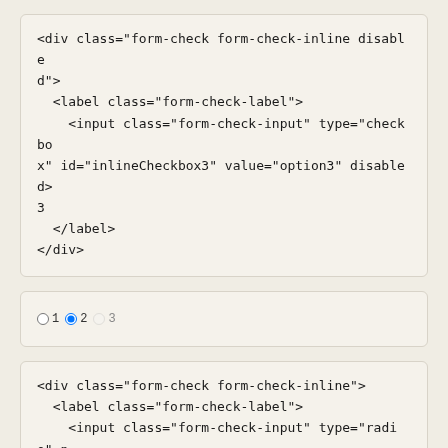<div class="form-check form-check-inline disabled">
  <label class="form-check-label">
    <input class="form-check-input" type="checkbox" id="inlineCheckbox3" value="option3" disabled>
3
  </label>
</div>
[Figure (screenshot): Preview of inline radio buttons: radio button 1, radio button 2 (selected), radio button 3 (disabled)]
<div class="form-check form-check-inline">
  <label class="form-check-label">
    <input class="form-check-input" type="radio" name="inlineRadioOptions" id="inlineRadio1" value="option1"> 1
  </label>
</div>
<div class="form-check form-check-inline">
  <label class="form-check-label">
    <input class="form-check-input" type="radio" n